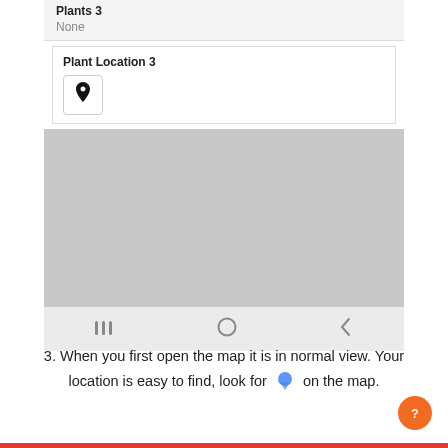[Figure (screenshot): Mobile app screenshot showing 'Plants 3' field with value 'None', 'Plant Location 3' card with a location pin icon, a grey map area, and an Android navigation bar at the bottom.]
3. When you first open the map it is in normal view. Your location is easy to find, look for [location icon] on the map.